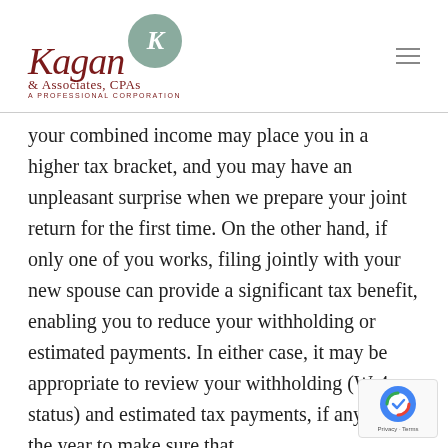[Figure (logo): Kagan & Associates, CPAs logo with script text and circular K emblem in sage green]
your combined income may place you in a higher tax bracket, and you may have an unpleasant surprise when we prepare your joint return for the first time. On the other hand, if only one of you works, filing jointly with your new spouse can provide a significant tax benefit, enabling you to reduce your withholding or estimated payments. In either case, it may be appropriate to review your withholding (W-4 status) and estimated tax payments, if any, for the year to make sure that